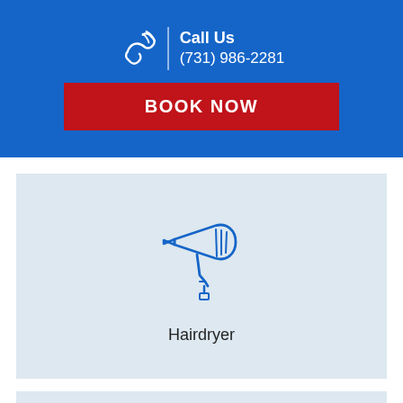Call Us
(731) 986-2281
BOOK NOW
[Figure (illustration): Blue outline icon of a hair dryer]
Hairdryer